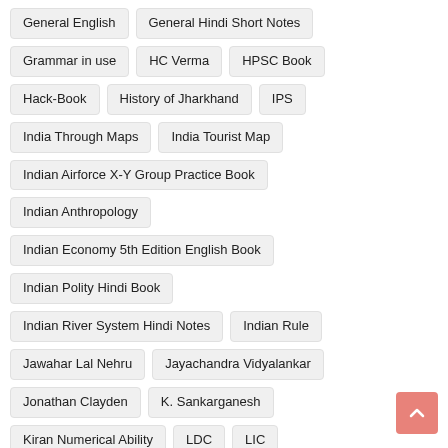General English
General Hindi Short Notes
Grammar in use
HC Verma
HPSC Book
Hack-Book
History of Jharkhand
IPS
India Through Maps
India Tourist Map
Indian Airforce X-Y Group Practice Book
Indian Anthropology
Indian Economy 5th Edition English Book
Indian Polity Hindi Book
Indian River System Hindi Notes
Indian Rule
Jawahar Lal Nehru
Jayachandra Vidyalankar
Jonathan Clayden
K. Sankarganesh
Kiran Numerical Ability
LDC
LIC
List of Ministers
Lucent Biology Hindi Book
Lucent Biology Objective Questions Hindi Book
Lucent Chemistry Objective Questions Hindi Book